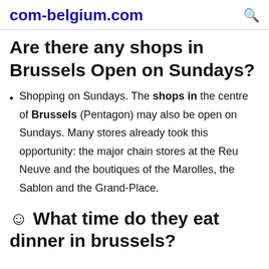com-belgium.com
Are there any shops in Brussels Open on Sundays?
Shopping on Sundays. The shops in the centre of Brussels (Pentagon) may also be open on Sundays. Many stores already took this opportunity: the major chain stores at the Reu Neuve and the boutiques of the Marolles, the Sablon and the Grand-Place.
☺ What time do they eat dinner in brussels?